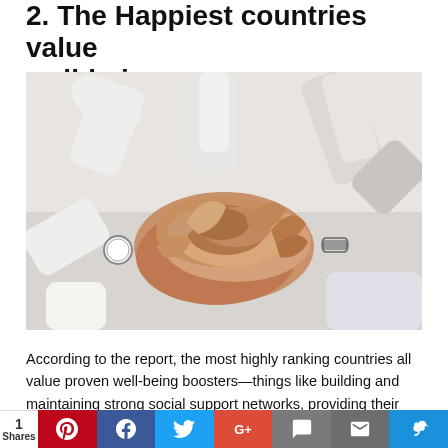2. The Happiest countries value well-being
[Figure (photo): Overhead view of multiple people in white/light clothing stacking their hands together in a group huddle — a teamwork or unity gesture.]
According to the report, the most highly ranking countries all value proven well-being boosters—things like building and maintaining strong social support networks, providing their
1 Shares  [Pinterest] [Facebook] [Twitter] [Google+] [Chat] [Email] [Vine]